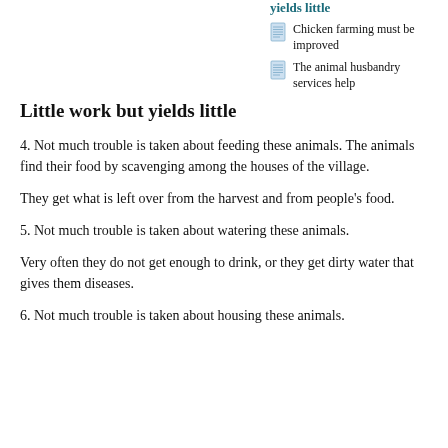yields little
Chicken farming must be improved
The animal husbandry services help
Little work but yields little
4. Not much trouble is taken about feeding these animals. The animals find their food by scavenging among the houses of the village.
They get what is left over from the harvest and from people's food.
5. Not much trouble is taken about watering these animals.
Very often they do not get enough to drink, or they get dirty water that gives them diseases.
6. Not much trouble is taken about housing these animals.